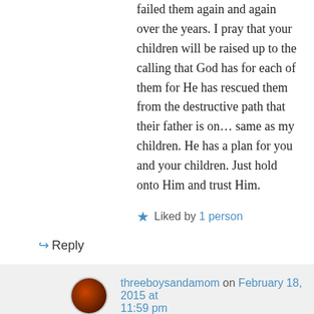failed them again and again over the years. I pray that your children will be raised up to the calling that God has for each of them for He has rescued them from the destructive path that their father is on… same as my children. He has a plan for you and your children. Just hold onto Him and trust Him.
★ Liked by 1 person
↪ Reply
threeboysandamom on February 18, 2015 at 11:59 pm
This is beautiful. Thank you for such a heartfelt comment and for sharing your wisdom and insight with me from years